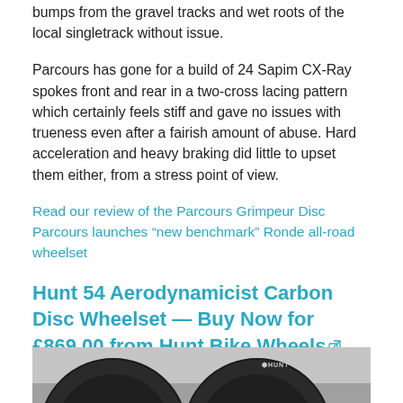bumps from the gravel tracks and wet roots of the local singletrack without issue.
Parcours has gone for a build of 24 Sapim CX-Ray spokes front and rear in a two-cross lacing pattern which certainly feels stiff and gave no issues with trueness even after a fairish amount of abuse. Hard acceleration and heavy braking did little to upset them either, from a stress point of view.
Read our review of the Parcours Grimpeur Disc
Parcours launches “new benchmark” Ronde all-road wheelset
Hunt 54 Aerodynamicist Carbon Disc Wheelset — Buy Now for £869.00 from Hunt Bike Wheels
[Figure (photo): Close-up photo of Hunt carbon disc wheels, showing two dark carbon rims side by side against a light background. A Hunt logo is visible on the rim.]